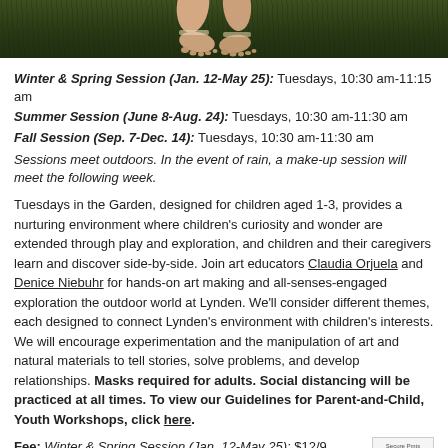[Figure (photo): Close-up photo of a child's bare feet on green grass, cropped at the top of the page]
Winter & Spring Session (Jan. 12-May 25): Tuesdays, 10:30 am-11:15 am
Summer Session (June 8-Aug. 24): Tuesdays, 10:30 am-11:30 am
Fall Session (Sep. 7-Dec. 14): Tuesdays, 10:30 am-11:30 am
Sessions meet outdoors. In the event of rain, a make-up session will meet the following week.
Tuesdays in the Garden, designed for children aged 1-3, provides a nurturing environment where children's curiosity and wonder are extended through play and exploration, and children and their caregivers learn and discover side-by-side. Join art educators Claudia Orjuela and Denice Niebuhr for hands-on art making and all-senses-engaged exploration the outdoor world at Lynden. We'll consider different themes, each designed to connect Lynden's environment with children's interests. We will encourage experimentation and the manipulation of art and natural materials to tell stories, solve problems, and develop relationships. Masks required for adults. Social distancing will be practiced at all times. To view our Guidelines for Parent-and-Child, Youth Workshops, click here.
Fee: Winter & Spring Session (Jan. 12-May 25): $12/9 members for one adult and one child.
Summer Session (June 8-Aug. 24): $16/$12 members for one adult and one child